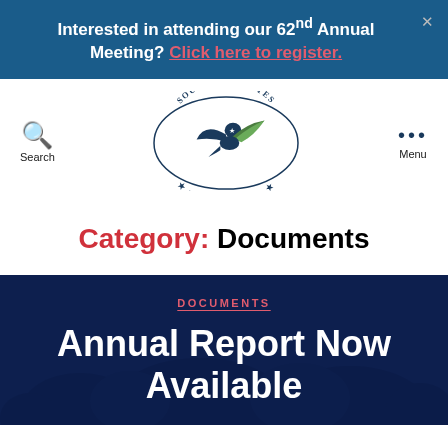Interested in attending our 62nd Annual Meeting? Click here to register.
[Figure (logo): Southern States Energy Board logo — eagle with quill, circular text reading 'Southern States Energy Board']
Category: Documents
DOCUMENTS
Annual Report Now Available